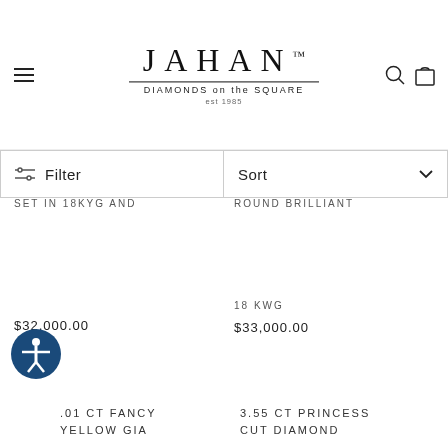JAHAN™ DIAMONDS on the SQUARE est 1985
Filter
Sort
SET IN 18KYG AND
$32,000.00
ROUND BRILLIANT
18 KWG
$33,000.00
.01 CT FANCY YELLOW GIA
3.55 CT PRINCESS CUT DIAMOND